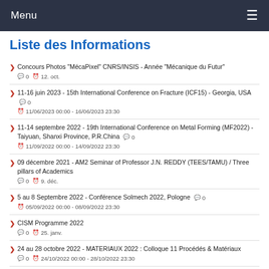Menu
Liste des Informations
Concours Photos "MécaPixel" CNRS/INSIS - Année "Mécanique du Futur"  0  12. oct.
11-16 juin 2023 - 15th International Conference on Fracture (ICF15) - Georgia, USA  0  11/06/2023 00:00 - 16/06/2023 23:30
11-14 septembre 2022 - 19th International Conference on Metal Forming (MF2022) - Taiyuan, Shanxi Province, P.R.China  0  11/09/2022 00:00 - 14/09/2022 23:30
09 décembre 2021 - AM2 Seminar of Professor J.N. REDDY (TEES/TAMU) / Three pillars of Academics  0  9. déc.
5 au 8 Septembre 2022 - Conférence Solmech 2022, Pologne  0  05/09/2022 00:00 - 08/09/2022 23:30
CISM Programme 2022  0  25. janv.
24 au 28 octobre 2022 - MATERIAUX 2022 : Colloque 11 Procédés & Matériaux  0  24/10/2022 00:00 - 28/10/2022 23:30
06 au 08 septembre 2022 - 16ème édition du congrès de la BSSM à Oxford  0  06/09/2022 00:00 - 08/09/2022 23:30
16 au 18 novembre 2022 - JET'2022 - Marrakech  0